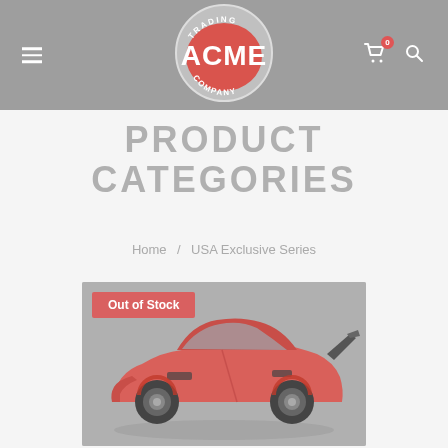[Figure (logo): ACME Trading Company logo — oval red shape with white ACME lettering, bordered by 'TRADING' at top and 'COMPANY' at bottom in white text]
PRODUCT CATEGORIES
Home / USA Exclusive Series
[Figure (photo): A red/coral Corvette ZR1 sports car shown in side profile on a gray background, with a large rear wing spoiler. An 'Out of Stock' badge is displayed on the top left of the image.]